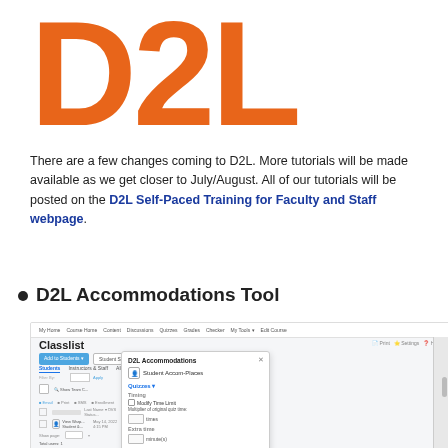[Figure (logo): D2L logo in large orange bold text]
There are a few changes coming to D2L. More tutorials will be made available as we get closer to July/August. All of our tutorials will be posted on the D2L Self-Paced Training for Faculty and Staff webpage.
D2L Accommodations Tool
[Figure (screenshot): Screenshot of D2L Classlist page showing the D2L Accommodations modal dialog with quiz timing and controls settings]